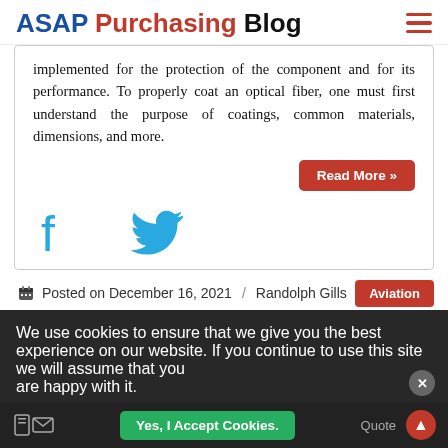ASAP Purchasing Blog
implemented for the protection of the component and for its performance. To properly coat an optical fiber, one must first understand the purpose of coatings, common materials, dimensions, and more.
Read More »
[Figure (logo): Facebook and Twitter social share icons]
Posted on December 16, 2021 / Randolph Gills Aviation
We use cookies to ensure that we give you the best experience on our website. If you continue to use this site we will assume that you are happy with it.
Yes, I Accept Cookies.